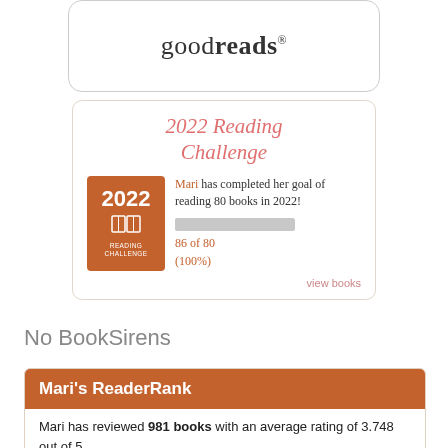[Figure (logo): Goodreads logo in a rounded rectangle card]
2022 Reading Challenge
[Figure (infographic): 2022 Reading Challenge badge - orange square with book icon and text READING CHALLENGE]
Mari has completed her goal of reading 80 books in 2022!
86 of 80 (100%)
view books
No BookSirens
Mari's ReaderRank
Mari has reviewed 981 books with an average rating of 3.748 out of 5.
280 people have found Mari's written